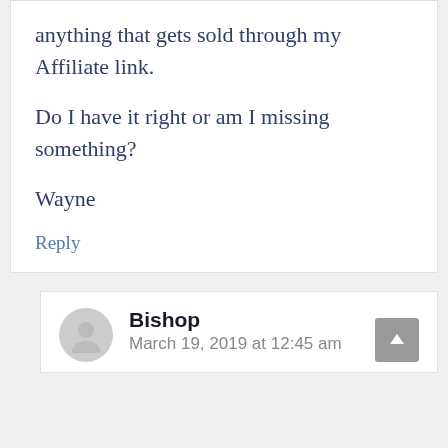anything that gets sold through my Affiliate link.
Do I have it right or am I missing something?
Wayne
Reply
Bishop
March 19, 2019 at 12:45 am